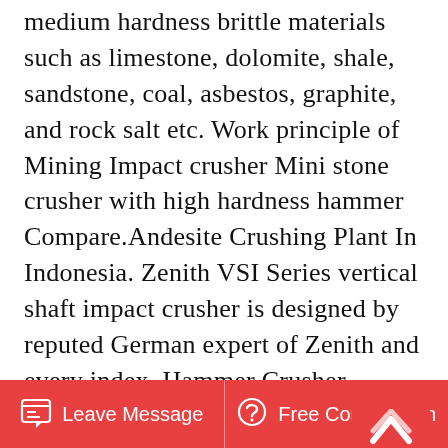medium hardness brittle materials such as limestone, dolomite, shale, sandstone, coal, asbestos, graphite, and rock salt etc. Work principle of Mining Impact crusher Mini stone crusher with high hardness hammer Compare.Andesite Crushing Plant In Indonesia. Zenith VSI Series vertical shaft impact crusher is designed by reputed German expert of Zenith and every index. Hammer Crusher. Hammer crusher designed by Zenith fits for producing 0-3MM coarse powder products This machine adopts theories.Parameters Of Crusher Plant. Parameters Of Jaw Crusher For Bauxite Crushing. Parameters of crusher plant . There are many different machine setup parameters and variables that affect the production of cone crushers in a mineral processing plant. the performance
Leave Message   Free Consultation